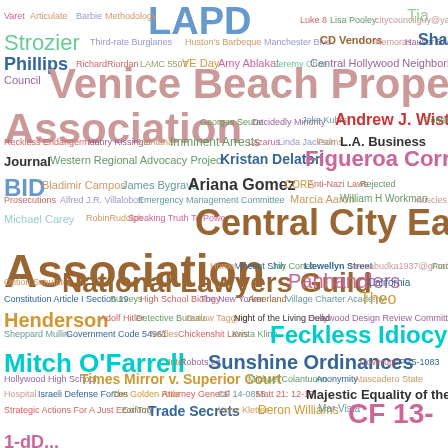[Figure (infographic): Word cloud featuring terms related to Los Angeles government, community organizations, legal terms, and local issues. Largest words include LAPD, Venice Beach Property Owners Association, Central City East Association, National Lawyers Guild, Feckless Idiocy of Mitch O'Farrell, Sunshine Ordinances, and others in various colors and sizes.]